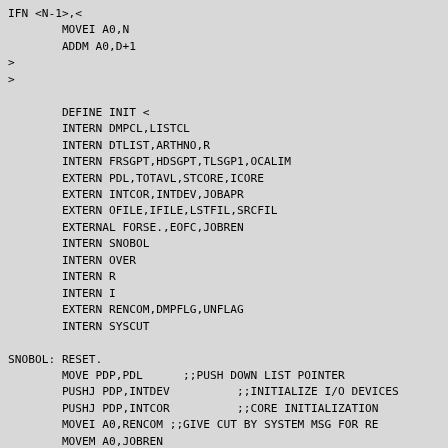IFN <N-1>,<
        MOVEI A0,N
        ADDM A0,D+1
>
>

        DEFINE INIT <
        INTERN DMPCL,LISTCL
        INTERN DTLIST,ARTHNO,R
        INTERN FRSGPT,HDSGPT,TLSGP1,OCALIM
        EXTERN PDL,TOTAVL,STCORE,ICORE
        EXTERN INTCOR,INTDEV,JOBAPR
        EXTERN OFILE,IFILE,LSTFIL,SRCFIL
        EXTERNAL FORSE.,EOFC,JOBREN
        INTERN SNOBOL
        INTERN OVER
        INTERN R
        INTERN I
        EXTERN RENCOM,DMPFLG,UNFLAG
        INTERN SYSCUT

SNOBOL: RESET.
        MOVE PDP,PDL      ;;PUSH DOWN LIST POINTER
        PUSHJ PDP,INTDEV          ;;INITIALIZE I/O DEVICES
        PUSHJ PDP,INTCOR          ;;CORE INITIALIZATION
        MOVEI A0,RENCOM ;;GIVE CUT BY SYSTEM MSG FOR RE
        MOVEM A0,JOBREN
        MOVEI A0,1        ;;MAKE LIST LEFT DEFAULT
        MOVEM A0,LLIST
        SKIPE DMPFLG